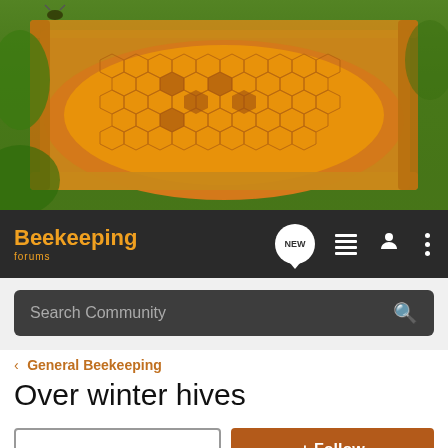[Figure (photo): Close-up photo of honeycomb frame with bees, golden amber honeycomb cells visible with green background foliage]
Beekeeping forums
Search Community
< General Beekeeping
Over winter hives
→ Jump to Latest
+ Follow
1 - 7 of 7 Posts
deerman · Registered
Joined Nov 15, 2008 · 7 Posts